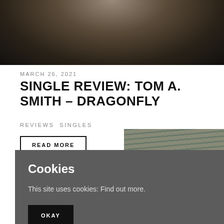[Figure (photo): Top portion of a photo showing a person in dark clothing against a background of bare trees and autumn foliage]
MARCH 26, 2021
SINGLE REVIEW: TOM A. SMITH – DRAGONFLY
REVIEWS SINGLES
READ MORE
Cookies
This site uses cookies: Find out more.
OKAY
[Figure (photo): Bottom right photo showing a person looking upward, with a building and roof tiles visible in the background]